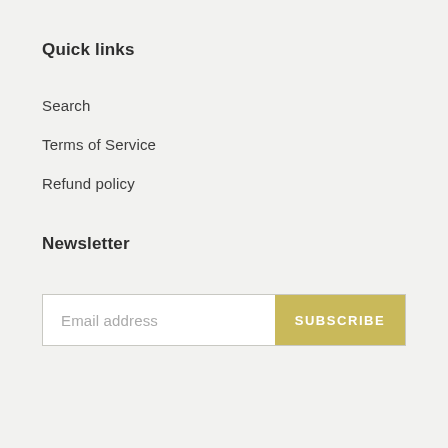Quick links
Search
Terms of Service
Refund policy
Newsletter
Email address
SUBSCRIBE